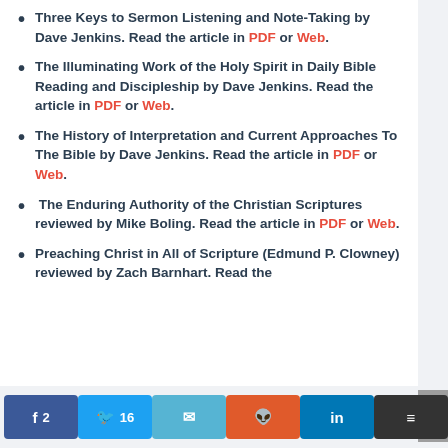Three Keys to Sermon Listening and Note-Taking by Dave Jenkins. Read the article in PDF or Web.
The Illuminating Work of the Holy Spirit in Daily Bible Reading and Discipleship by Dave Jenkins. Read the article in PDF or Web.
The History of Interpretation and Current Approaches To The Bible by Dave Jenkins. Read the article in PDF or Web.
The Enduring Authority of the Christian Scriptures reviewed by Mike Boling. Read the article in PDF or Web.
Preaching Christ in All of Scripture (Edmund P. Clowney) reviewed by Zach Barnhart. Read the
Facebook 2 | Twitter 16 | Email | Reddit | LinkedIn | Buffer